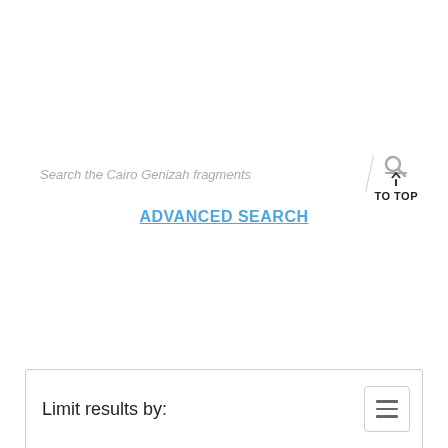Search the Cairo Genizah fragments
ADVANCED SEARCH
TO TOP
Limit results by: